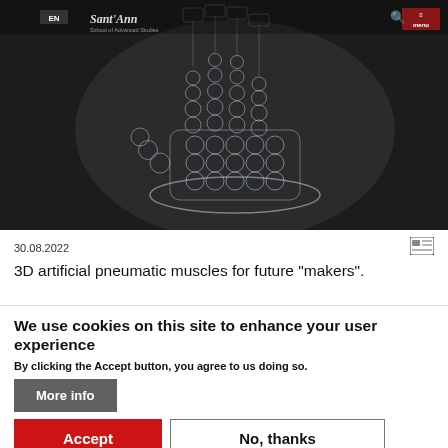[Figure (screenshot): Website header showing a 3D printed transparent artificial hand/muscles structure against a dark background, with Sant'Anna school navigation bar overlay showing EN badge and menu button]
30.08.2022
3D artificial pneumatic muscles for future “makers”.
We use cookies on this site to enhance your user experience
By clicking the Accept button, you agree to us doing so.
More info
Accept
No, thanks